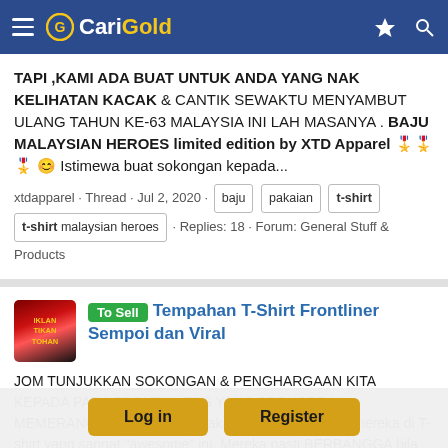CariGold
TAPI ,KAMI ADA BUAT UNTUK ANDA YANG NAK KELIHATAN KACAK & CANTIK SEWAKTU MENYAMBUT ULANG TAHUN KE-63 MALAYSIA INI LAH MASANYA . BAJU MALAYSIAN HEROES limited edition by XTD Apparel 🎖️🎖️🎖️😊 Istimewa buat sokongan kepada...
xtdapparel · Thread · Jul 2, 2020 · baju pakaian t-shirt t-shirt malaysian heroes · Replies: 18 · Forum: General Stuff & Products
To Sell Tempahan T-Shirt Frontliner Sempoi dan Viral
JOM TUNJUKKAN SOKONGAN & PENGHARGAAN KITA KEPADA PARA FRONTLINERS YANG BERKORBAN MEMERANGI COVID-19. Kita lakarkan gambar wajah mereka di T-shirt yang sangat "awesome" ini. Mereka pasti BERBANGGA bila melihat kita pakai T-shirt Frontliners ini. AWAS! T-SHIRT INI SANGAT
Log in
Register